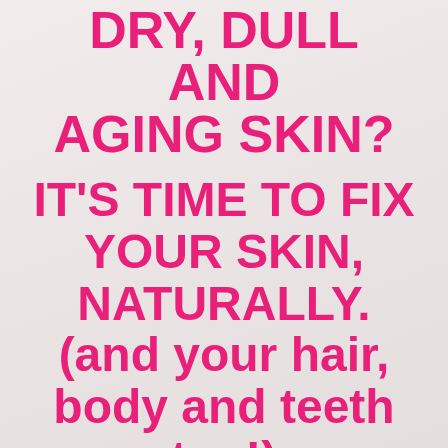DRY, DULL AND AGING SKIN?
IT'S TIME TO FIX YOUR SKIN, NATURALLY. (and your hair, body and teeth too!)